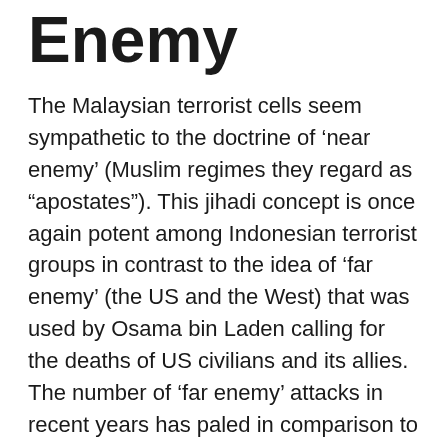Enemy
The Malaysian terrorist cells seem sympathetic to the doctrine of ‘near enemy’ (Muslim regimes they regard as “apostates”). This jihadi concept is once again potent among Indonesian terrorist groups in contrast to the idea of ‘far enemy’ (the US and the West) that was used by Osama bin Laden calling for the deaths of US civilians and its allies. The number of ‘far enemy’ attacks in recent years has paled in comparison to the number of attacks on the ‘near enemy’ (the Indonesian state and its agency, in particular, the police force).
The RMP has been effective and efficient in heading off terrorist threats in Malaysia. Since February 2013, it has arrested a total of 488 militants, and the Counter-Terrorism unit of the police has thwarted 25 terror plots in Malaysia.